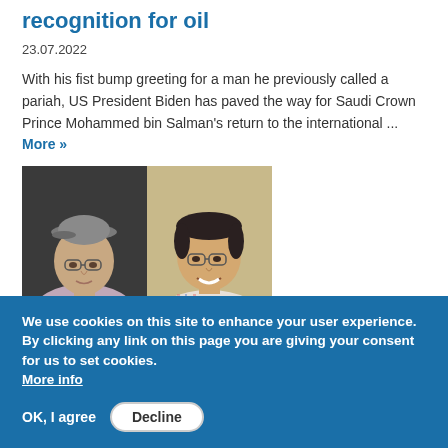recognition for oil
23.07.2022
With his fist bump greeting for a man he previously called a pariah, US President Biden has paved the way for Saudi Crown Prince Mohammed bin Salman's return to the international ... More »
[Figure (photo): Two men side by side: left photo shows an older man with glasses and a grey flat cap; right photo shows a younger man with glasses smiling, against a tan/stone wall background.]
We use cookies on this site to enhance your user experience. By clicking any link on this page you are giving your consent for us to set cookies. More info
OK, I agree   Decline